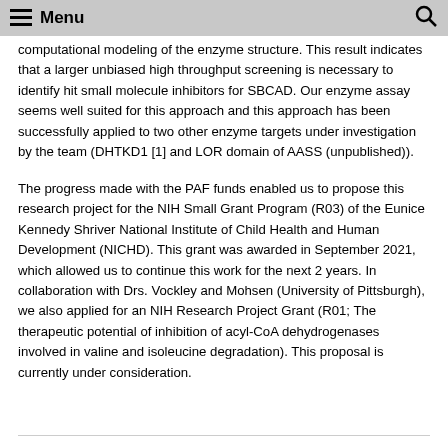Menu
computational modeling of the enzyme structure. This result indicates that a larger unbiased high throughput screening is necessary to identify hit small molecule inhibitors for SBCAD. Our enzyme assay seems well suited for this approach and this approach has been successfully applied to two other enzyme targets under investigation by the team (DHTKD1 [1] and LOR domain of AASS (unpublished)).
The progress made with the PAF funds enabled us to propose this research project for the NIH Small Grant Program (R03) of the Eunice Kennedy Shriver National Institute of Child Health and Human Development (NICHD). This grant was awarded in September 2021, which allowed us to continue this work for the next 2 years. In collaboration with Drs. Vockley and Mohsen (University of Pittsburgh), we also applied for an NIH Research Project Grant (R01; The therapeutic potential of inhibition of acyl-CoA dehydrogenases involved in valine and isoleucine degradation). This proposal is currently under consideration.